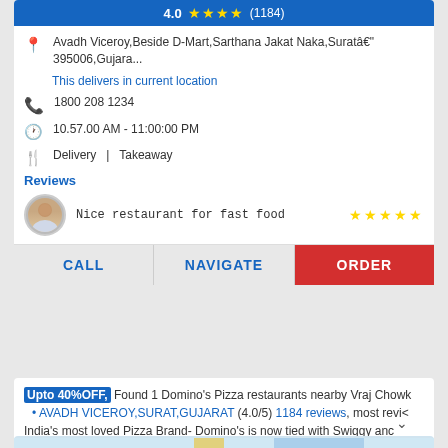4.0 ★★★★ (1184)
Avadh Viceroy,Beside D-Mart,Sarthana Jakat Naka,Suratâ€"395006,Gujara...
This delivers in current location
1800 208 1234
10.57.00 AM - 11:00:00 PM
Delivery | Takeaway
Reviews
Nice restaurant for fast food ★★★★★
CALL  NAVIGATE  ORDER
Upto 40%OFF, Found 1 Domino's Pizza restaurants nearby Vraj Chowk • AVADH VICEROY,SURAT,GUJARAT (4.0/5) 1184 reviews, most revi India's most loved Pizza Brand- Domino's is now tied with Swiggy and
[Figure (screenshot): Partial map screenshot at bottom of page]